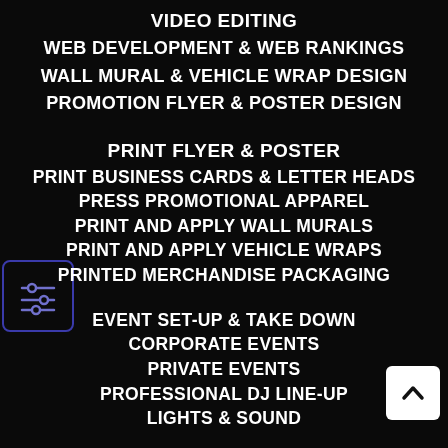VIDEO EDITING
WEB DEVELOPMENT & WEB RANKINGS
WALL MURAL & VEHICLE WRAP DESIGN
PROMOTION FLYER & POSTER DESIGN
[Figure (logo): Small icon with sliders/controls symbol in a rounded rectangle border]
PRINT FLYER & POSTER
PRINT BUSINESS CARDS & LETTER HEADS
PRESS PROMOTIONAL APPAREL
PRINT AND APPLY WALL MURALS
PRINT AND APPLY VEHICLE WRAPS
PRINTED MERCHANDISE PACKAGING
EVENT SET-UP & TAKE DOWN
CORPORATE EVENTS
PRIVATE EVENTS
[Figure (other): White square button with upward chevron arrow]
PROFESSIONAL DJ LINE-UP
LIGHTS & SOUND